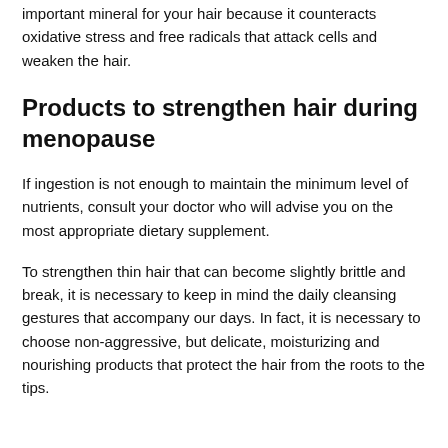important mineral for your hair because it counteracts oxidative stress and free radicals that attack cells and weaken the hair.
Products to strengthen hair during menopause
If ingestion is not enough to maintain the minimum level of nutrients, consult your doctor who will advise you on the most appropriate dietary supplement.
To strengthen thin hair that can become slightly brittle and break, it is necessary to keep in mind the daily cleansing gestures that accompany our days. In fact, it is necessary to choose non-aggressive, but delicate, moisturizing and nourishing products that protect the hair from the roots to the tips.